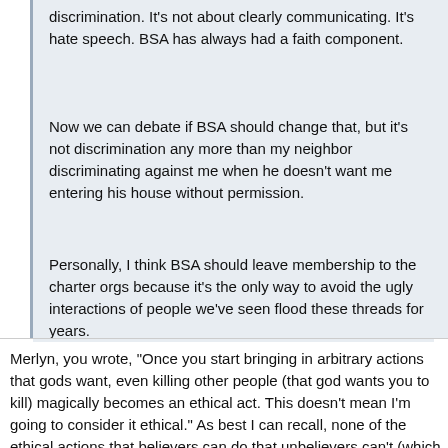discrimination. It's not about clearly communicating. It's hate speech. BSA has always had a faith component.
Now we can debate if BSA should change that, but it's not discrimination any more than my neighbor discriminating against me when he doesn't want me entering his house without permission.
Personally, I think BSA should leave membership to the charter orgs because it's the only way to avoid the ugly interactions of people we've seen flood these threads for years.
Merlyn, you wrote, "Once you start bringing in arbitrary actions that gods want, even killing other people (that god wants you to kill) magically becomes an ethical act. This doesn't mean I'm going to consider it ethical." As best I can recall, none of the ethical actions that believers can do that unbelievers can't (which I describe) included killing those whom God has commanded us to kill, nor are they arbitrary. By the same token,